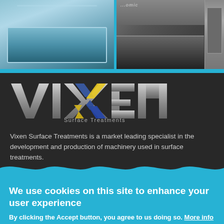[Figure (photo): Two industrial surface treatment machines side by side — left shows a metal tank/trough, right shows a larger stainless steel machine with control panel]
[Figure (logo): Vixen Surface Treatments logo — large metallic VIXEN text with blue and yellow X graphic, subtitle 'Surface Treatments']
Vixen Surface Treatments is a market leading specialist in the development and production of machinery used in surface treatments.
We use cookies on this site to enhance your user experience
By clicking the Accept button, you agree to us doing so. More info
ACCEPT
NO, THANKS